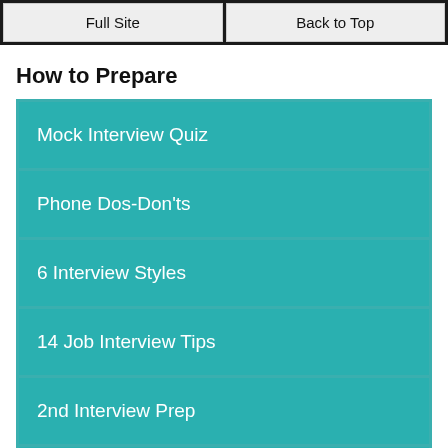Full Site | Back to Top
How to Prepare
Mock Interview Quiz
Phone Dos-Don'ts
6 Interview Styles
14 Job Interview Tips
2nd Interview Prep
Avoid Mistakes, Blunders
How to Answer